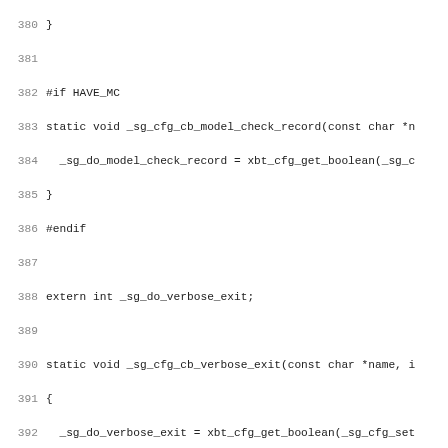Source code listing lines 380-412, C code with line numbers
380 }
381
382 #if HAVE_MC
383 static void _sg_cfg_cb_model_check_record(const char *n
384   _sg_do_model_check_record = xbt_cfg_get_boolean(_sg_c
385 }
386 #endif
387
388 extern int _sg_do_verbose_exit;
389
390 static void _sg_cfg_cb_verbose_exit(const char *name, i
391 {
392   _sg_do_verbose_exit = xbt_cfg_get_boolean(_sg_cfg_set
393 }
394
395 extern int _sg_do_clean_atexit;
396
397 static void _sg_cfg_cb_clean_atexit(const char *name, i
398 {
399   _sg_do_clean_atexit = xbt_cfg_get_boolean(_sg_cfg_set
400 }
401
402 static void _sg_cfg_cb_context_factory(const char *name
403 {
404   smx_context_factory_name = xbt_cfg_get_string(_sg_cfg
405 }
406
407 static void _sg_cfg_cb_context_stack_size(const char *n
408 {
409   smx_context_stack_size_was_set = 1;
410   smx_context_stack_size = xbt_cfg_get_int(_sg_cfg_set,
411 }
412